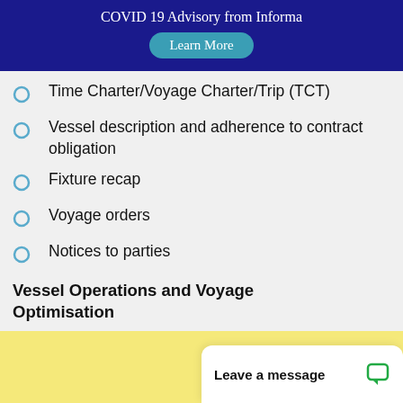COVID 19 Advisory from Informa
Learn More
Time Charter/Voyage Charter/Trip (TCT)
Vessel description and adherence to contract obligation
Fixture recap
Voyage orders
Notices to parties
Vessel Operations and Voyage Optimisation
Readiness
Leave a message